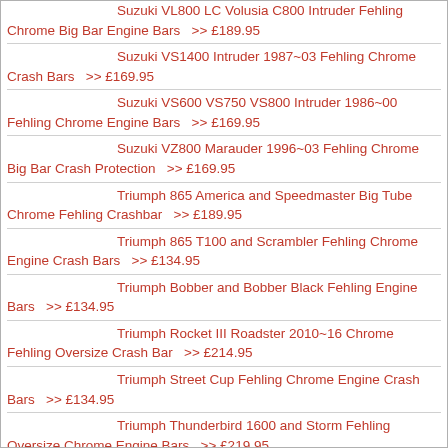Suzuki VL800 LC Volusia C800 Intruder Fehling Chrome Big Bar Engine Bars >> £189.95
Suzuki VS1400 Intruder 1987~03 Fehling Chrome Crash Bars >> £169.95
Suzuki VS600 VS750 VS800 Intruder 1986~00 Fehling Chrome Engine Bars >> £169.95
Suzuki VZ800 Marauder 1996~03 Fehling Chrome Big Bar Crash Protection >> £169.95
Triumph 865 America and Speedmaster Big Tube Chrome Fehling Crashbar >> £189.95
Triumph 865 T100 and Scrambler Fehling Chrome Engine Crash Bars >> £134.95
Triumph Bobber and Bobber Black Fehling Engine Bars >> £134.95
Triumph Rocket III Roadster 2010~16 Chrome Fehling Oversize Crash Bar >> £214.95
Triumph Street Cup Fehling Chrome Engine Crash Bars >> £134.95
Triumph Thunderbird 1600 and Storm Fehling Oversize Chrome Engine Bars >> £219.95
Triumph Thunderbird Storm Commander LT1700 2014 onwards Fehling Oversize Chrome Engine Bars >> £229.95
Triumph Tiger 1050 2007~20 Black Zieger Crash Bar >> £159.95
Triumph Tiger 1200 Explorer 2012~17 Black Zieger Crash Bar >> £189.95
Triumph Tiger 800 XC 2010~18 Black Zieger Crash Bar >> £169.95
Triumph Tiger 900 Zieger Engine Protection Crash Bars >> £189.95
Yamaha 700 Tenere 2019~19 Fehling Black Luggage...